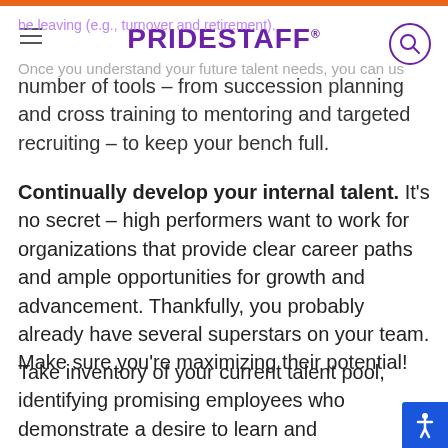PRIDESTAFF
be leaving (e.g., turnover and retirement).
Once you understand your future talent needs, you can use a number of tools – from succession planning and cross training to mentoring and targeted recruiting – to keep your bench full.
Continually develop your internal talent. It's no secret – high performers want to work for organizations that provide clear career paths and ample opportunities for growth and advancement. Thankfully, you probably already have several superstars on your team. Make sure you're maximizing their potential!
Take inventory of your current talent pool, identifying promising employees who demonstrate a desire to learn and challenge themselves. Then, use these tips to develop career paths for those individuals – and improve their value to your organization.